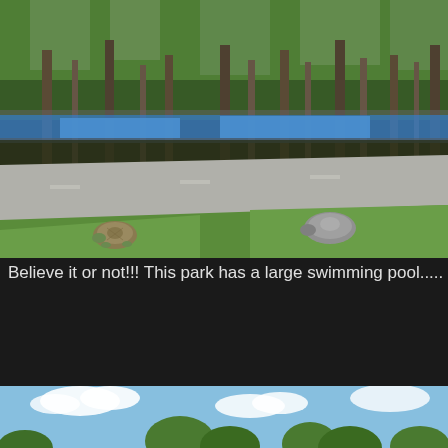[Figure (photo): Outdoor park scene with tall pine trees, a paved road/parking area, green grass, and two turtles on the grass in the foreground. A swimming pool is visible through the trees in the background.]
Believe it or not!!! This park has a large swimming pool.....
[Figure (photo): Partial view of another park scene, showing blue sky with clouds and tree tops, cut off at the bottom of the page.]